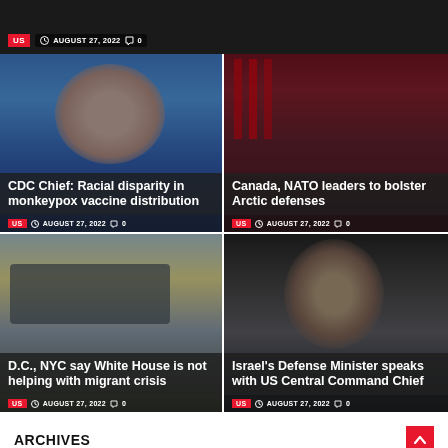[Figure (photo): Top banner strip with dark background, showing meta: US tag, August 27, 2022, comment count 0]
[Figure (photo): CDC Chief speaking at podium, blue background. Headline: CDC Chief: Racial disparity in monkeypox vaccine distribution]
[Figure (photo): Canadian flags and officials. Headline: Canada, NATO leaders to bolster Arctic defenses]
[Figure (photo): Bus/trailer on overcast road. Headline: D.C., NYC say White House is not helping with migrant crisis]
[Figure (photo): Man in suit, close-up face. Headline: Israel's Defense Minister speaks with US Central Command Chief]
ARCHIVES
August 2022